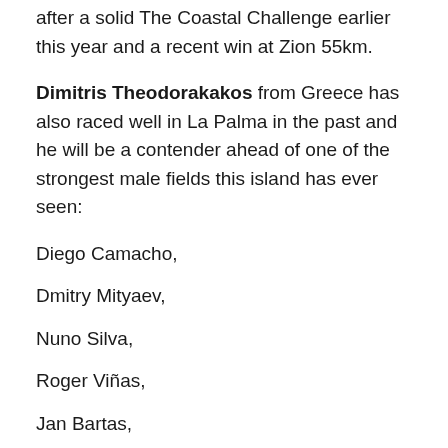after a solid The Coastal Challenge earlier this year and a recent win at Zion 55km.
Dimitris Theodorakakos from Greece has also raced well in La Palma in the past and he will be a contender ahead of one of the strongest male fields this island has ever seen:
Diego Camacho,
Dmitry Mityaev,
Nuno Silva,
Roger Viñas,
Jan Bartas,
Fulvio Dapit,